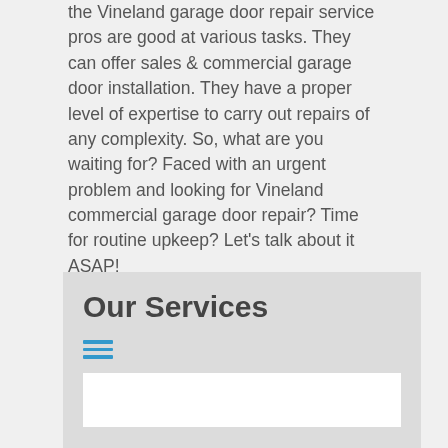the Vineland garage door repair service pros are good at various tasks. They can offer sales & commercial garage door installation. They have a proper level of expertise to carry out repairs of any complexity. So, what are you waiting for? Faced with an urgent problem and looking for Vineland commercial garage door repair? Time for routine upkeep? Let's talk about it ASAP!
Our Services
[Figure (other): Three horizontal blue lines forming a menu/hamburger icon]